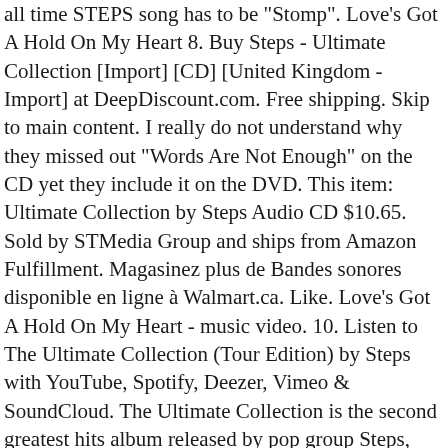all time STEPS song has to be "Stomp". Love's Got A Hold On My Heart 8. Buy Steps - Ultimate Collection [Import] [CD] [United Kingdom - Import] at DeepDiscount.com. Free shipping. Skip to main content. I really do not understand why they missed out "Words Are Not Enough" on the CD yet they include it on the DVD. This item: Ultimate Collection by Steps Audio CD $10.65. Sold by STMedia Group and ships from Amazon Fulfillment. Magasinez plus de Bandes sonores disponible en ligne à Walmart.ca. Like. Love's Got A Hold On My Heart - music video. 10. Listen to The Ultimate Collection (Tour Edition) by Steps with YouTube, Spotify, Deezer, Vimeo & SoundCloud. The Ultimate Collection is the second greatest hits album released by pop group Steps, released in October 2011, by Sony Music Entertainment. I saw them back in 1999 at Manchester for the "Next Step Live" concert, and now I've seen them most recently at the London O2 Arena on the 19th April & 20th. I was pleasantly pleased. P&P: + £11.64 P&P . 51. November 1 – News and new patterns of the week August 8 – News and new patterns of